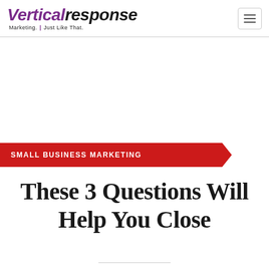VerticalResponse — Marketing. Just Like That.
[Figure (logo): VerticalResponse logo with tagline 'Marketing. Just Like That.' in italic serif style, with 'Vertical' in purple and 'response' in black]
SMALL BUSINESS MARKETING
These 3 Questions Will Help You Close